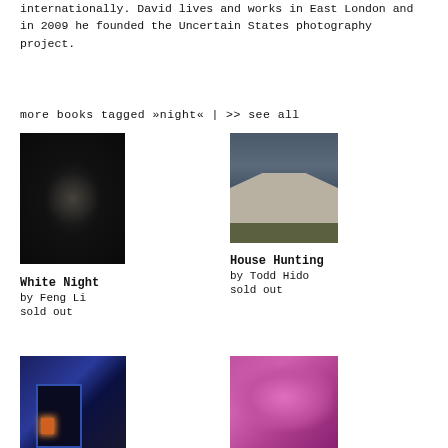internationally. David lives and works in East London and in 2009 he founded the Uncertain States photography project.
more books tagged »night« | >> see all
[Figure (photo): Book cover of White Night - dark/black cover with faint radial glow in center]
White Night
by Feng Li
sold out
[Figure (photo): Book cover of House Hunting by Todd Hido - suburban house at night with lit windows, fence in foreground]
House Hunting
by Todd Hido
sold out
[Figure (photo): Book cover - blue lit building at night with orange lit doorway]
[Figure (photo): Book cover - pink/magenta organic texture with small text at top]